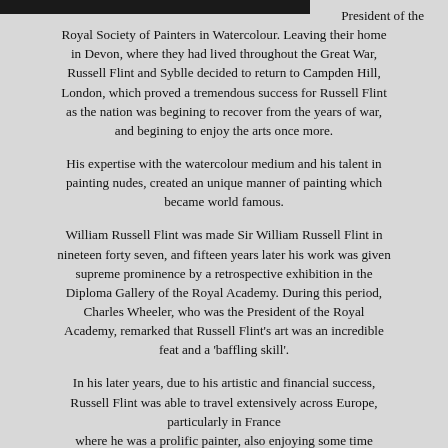[Figure (photo): Cropped dark image strip at top left of page]
President of the Royal Society of Painters in Watercolour. Leaving their home in Devon, where they had lived throughout the Great War, Russell Flint and Syblle decided to return to Campden Hill, London, which proved a tremendous success for Russell Flint as the nation was begining to recover from the years of war, and begining to enjoy the arts once more.
His expertise with the watercolour medium and his talent in painting nudes, created an unique manner of painting which became world famous.
William Russell Flint was made Sir William Russell Flint in nineteen forty seven, and fifteen years later his work was given supreme prominence by a retrospective exhibition in the Diploma Gallery of the Royal Academy. During this period, Charles Wheeler, who was the President of the Royal Academy, remarked that Russell Flint's art was an incredible feat and a 'baffling skill'.
In his later years, due to his artistic and financial success, Russell Flint was able to travel extensively across Europe, particularly in France where he was a prolific painter, also enjoying some time painting in Switzerland, Spain, Italy, and Scotland.